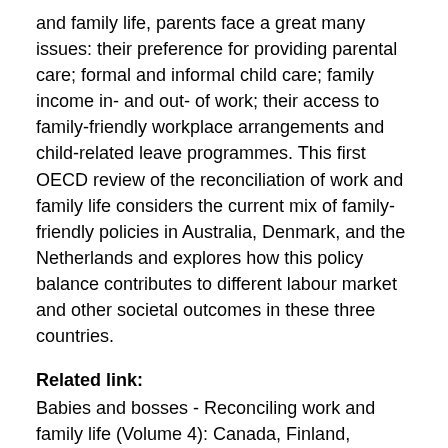and family life, parents face a great many issues: their preference for providing parental care; formal and informal child care; family income in- and out- of work; their access to family-friendly workplace arrangements and child-related leave programmes. This first OECD review of the reconciliation of work and family life considers the current mix of family-friendly policies in Australia, Denmark, and the Netherlands and explores how this policy balance contributes to different labour market and other societal outcomes in these three countries.
Related link: Babies and bosses - Reconciling work and family life (Volume 4): Canada, Finland, Sweden and the United Kingdom Region: Australia and New Zealand Europe Tags: